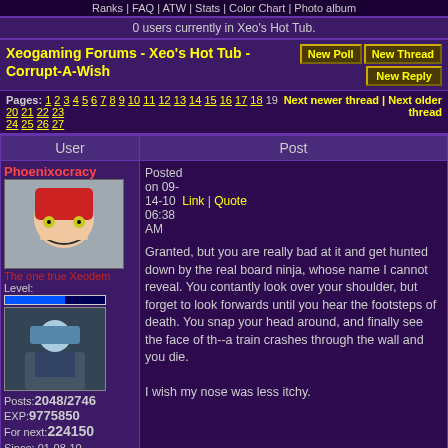Ranks | FAQ | ATW | Stats | Color Chart | Photo album
0 users currently in Xeo's Hot Tub.
Xeogaming Forums - Xeo's Hot Tub - Corrupt-A-Wish
Pages: 1 2 3 4 5 6 7 8 9 10 11 12 13 14 15 16 17 18 19 20 21 22 23 24 25 26 27   Next newer thread | Next older thread
| User | Post |
| --- | --- |
| Phoenixocracy
[avatar]
The one true Xeodem
Level:
[level bar]
[level avatar]
Posts:2048/2746
EXP:9775850
For next:224150
Since: 01-08-10
From: Xeomerica | Posted on 09-14-10 06:38 AM   Link | Quote

Granted, but you are really bad at it and get hunted down by the real board ninja, whose name I cannot reveal. You contantly look over your shoulder, but forget to look forwards until you hear the footsteps of death. You snap your head around, and finally see the face of th--a train crashes through the wall and you die.

I wish my nose was less itchy. |